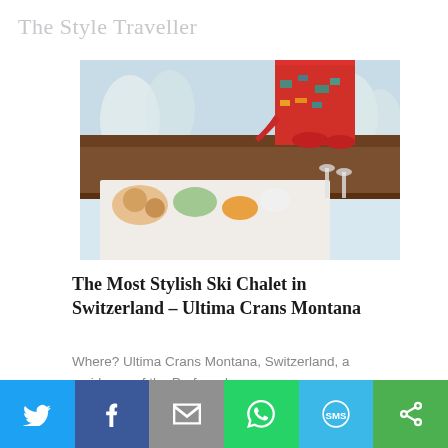The Style Traveller
[Figure (photo): Photo of a ski chalet outdoor table setting with food and drinks, with a person in a colorful ski outfit visible above the table railing, snowy trees in background]
The Most Stylish Ski Chalet in Switzerland – Ultima Crans Montana
Where? Ultima Crans Montana, Switzerland, a residence of the Preferred...
Continue reading...